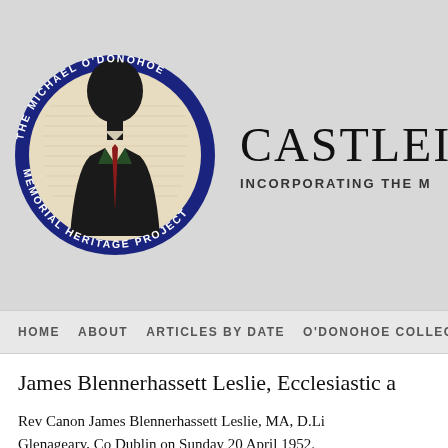[Figure (logo): The Michael O'Donohoe Memorial Heritage Project circular logo with silhouette of a man in a suit against a parchment background, dark blue border with text around the circumference]
CASTLEISLA INCORPORATING THE M
HOME   ABOUT   ARTICLES BY DATE   O'DONOHOE COLLECTION
James Blennerhassett Leslie, Ecclesiastic a
Rev Canon James Blennerhassett Leslie, MA, D.Li Glenageary, Co Dublin on Sunday 20 April 1952. a distinguished career as cleric: